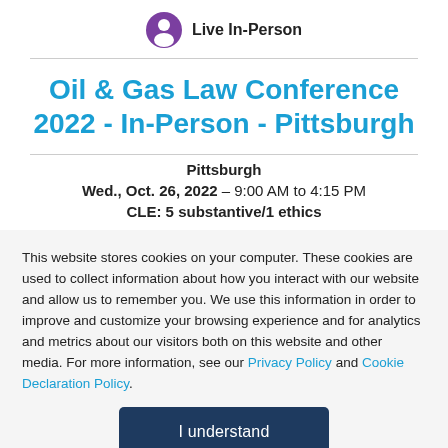[Figure (logo): Purple circle icon with a person silhouette, labeled 'Live In-Person']
Oil & Gas Law Conference 2022 - In-Person - Pittsburgh
Pittsburgh
Wed., Oct. 26, 2022 – 9:00 AM to 4:15 PM
CLE: 5 substantive/1 ethics
This website stores cookies on your computer. These cookies are used to collect information about how you interact with our website and allow us to remember you. We use this information in order to improve and customize your browsing experience and for analytics and metrics about our visitors both on this website and other media. For more information, see our Privacy Policy and Cookie Declaration Policy.
I understand